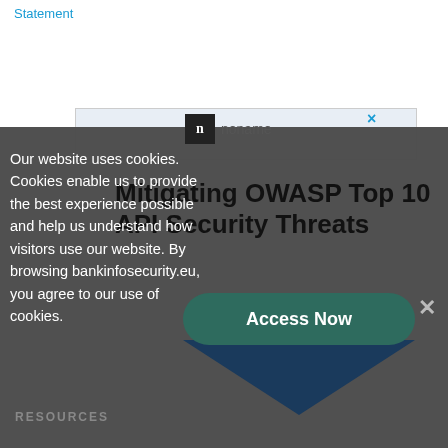Statement
[Figure (screenshot): Cookie consent overlay on bankinfosecurity.eu website showing a dark semi-transparent panel with cookie notice text, a noname logo advertisement, article title 'Mitigating OWASP Top 10 API Security Threats', an 'Access Now' button, and a close X button. Background shows partial article content and an ad banner.]
Our website uses cookies. Cookies enable us to provide the best experience possible and help us understand how visitors use our website. By browsing bankinfosecurity.eu, you agree to our use of cookies.
Mitigating OWASP Top 10 API Security Threats
RESOURCES